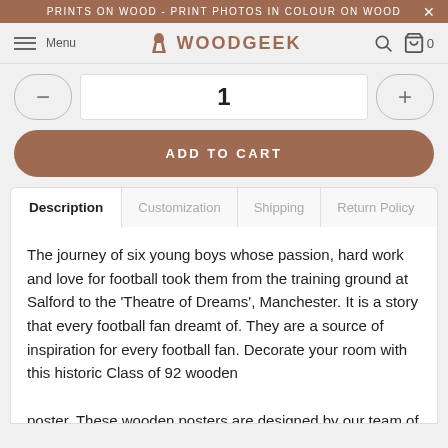PRINTS ON WOOD - PRINT PHOTOS IN COLOUR ON WOOD
Menu  WOODGEEK  0
1
ADD TO CART
Description  Customization  Shipping  Return Policy
The journey of six young boys whose passion, hard work and love for football took them from the training ground at Salford to the 'Theatre of Dreams', Manchester. It is a story that every football fan dreamt of. They are a source of inspiration for every football fan. Decorate your room with this historic Class of 92 wooden poster. These wooden posters are designed by our team of artists and intricately carved into solid wood. Choose from